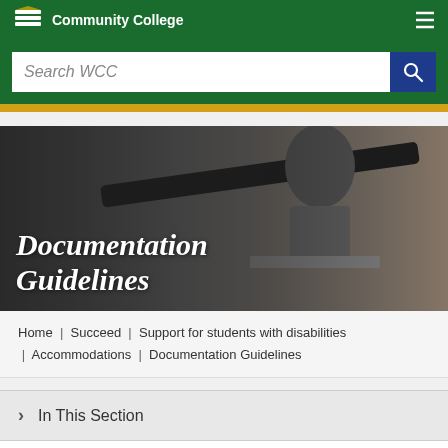Community College
[Figure (screenshot): Search bar with 'Search WCC' placeholder and blue search button]
[Figure (photo): Hero image showing a person at a desk with overlaid italic white text 'Documentation Guidelines']
Documentation Guidelines
Home | Succeed | Support for students with disabilities | Accommodations | Documentation Guidelines
In This Section
If you are seeking accommodation services from